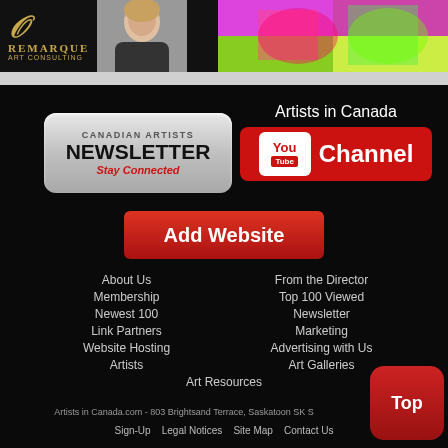[Figure (logo): Remarque Art Consulting logo with gold lettering on black background, alongside portrait photo of woman and colorful abstract art image]
[Figure (illustration): Newsletter signup button: gray rounded rectangle with 'CANADIAN ARTISTS NEWSLETTER Stay Connected']
[Figure (illustration): Artists in Canada YouTube Channel button: red rounded rectangle with YouTube logo and 'Channel' text]
[Figure (illustration): Red 'Add Website' button]
About Us
From the Director
Membership
Top 100 Viewed
Newest 100
Newsletter
Link Partners
Marketing
Website Hosting
Advertising with Us
Artists
Art Galleries
Art Resources
Artists in Canada.com - 803 Brightsand Terrace, Saskatoon SK S
Sign-Up   Legal Notices   Site Map   Contact Us